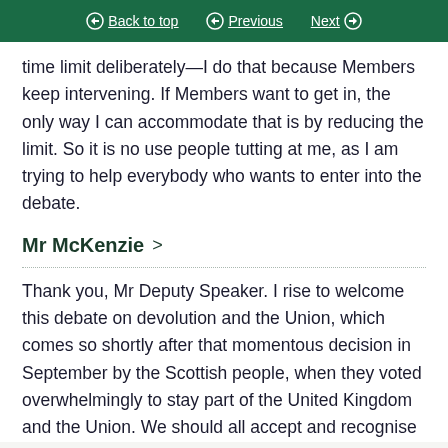Back to top | Previous | Next
time limit deliberately—I do that because Members keep intervening. If Members want to get in, the only way I can accommodate that is by reducing the limit. So it is no use people tutting at me, as I am trying to help everybody who wants to enter into the debate.
Mr McKenzie >
Thank you, Mr Deputy Speaker. I rise to welcome this debate on devolution and the Union, which comes so shortly after that momentous decision in September by the Scottish people, when they voted overwhelmingly to stay part of the United Kingdom and the Union. We should all accept and recognise